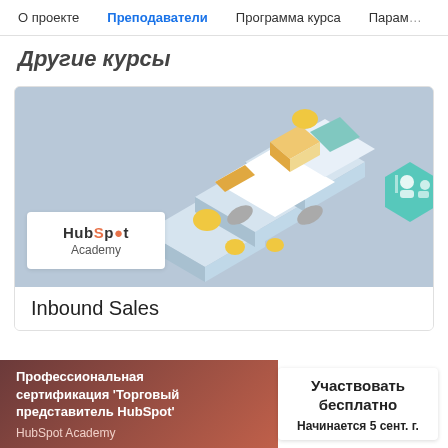О проекте   Преподаватели   Программа курса   Парам…
Другие курсы
[Figure (illustration): HubSpot Academy course card illustration showing isometric delivery truck with boxes and a hexagonal badge icon with instructor/student figures; HubSpot Academy logo in white box overlay]
Inbound Sales
Профессиональная сертификация 'Торговый представитель HubSpot'
HubSpot Academy
Участвовать бесплатно
Начинается 5 сент. г.